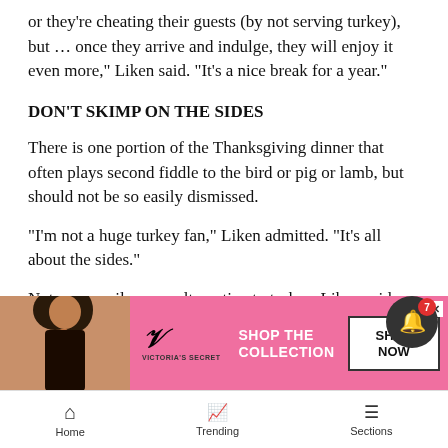or they’re cheating their guests (by not serving turkey), but … once they arrive and indulge, they will enjoy it even more,” Liken said. “It’s a nice break for a year.”
DON’T SKIMP ON THE SIDES
There is one portion of the Thanksgiving dinner that often plays second fiddle to the bird or pig or lamb, but should not be so easily dismissed.
“I’m not a huge turkey fan,” Liken admitted. “It’s all about the sides.”
Not necessarily as an alternative to turkey, Liken said, but she often ends up with six to eight roasted veggies and si…
“The b… so
[Figure (advertisement): Victoria's Secret advertisement with model, VS logo, 'Shop the Collection' text, and 'Shop Now' button]
Home   Trending   Sections